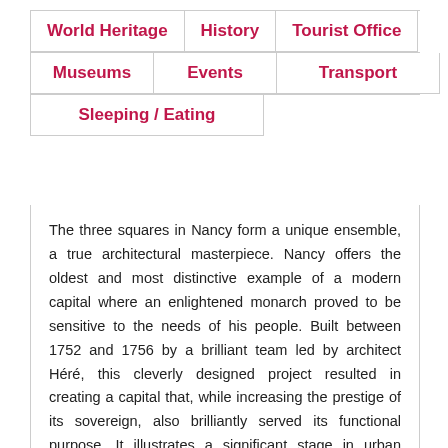World Heritage
History
Tourist Office
Museums
Events
Transport
Sleeping / Eating
The three squares in Nancy form a unique ensemble, a true architectural masterpiece. Nancy offers the oldest and most distinctive example of a modern capital where an enlightened monarch proved to be sensitive to the needs of his people. Built between 1752 and 1756 by a brilliant team led by architect Héré, this cleverly designed project resulted in creating a capital that, while increasing the prestige of its sovereign, also brilliantly served its functional purpose. It illustrates a significant stage in urban history.
Criteria for selection (1983)